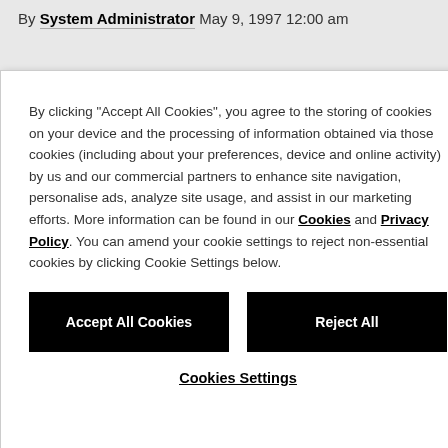By System Administrator May 9, 1997 12:00 am
By clicking "Accept All Cookies", you agree to the storing of cookies on your device and the processing of information obtained via those cookies (including about your preferences, device and online activity) by us and our commercial partners to enhance site navigation, personalise ads, analyze site usage, and assist in our marketing efforts. More information can be found in our Cookies and Privacy Policy. You can amend your cookie settings to reject non-essential cookies by clicking Cookie Settings below.
Accept All Cookies
Reject All
Cookies Settings